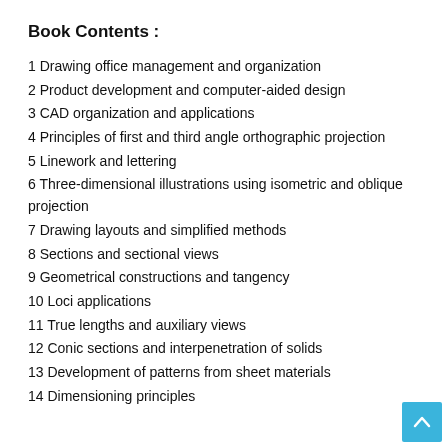Book Contents :
1 Drawing office management and organization
2 Product development and computer-aided design
3 CAD organization and applications
4 Principles of first and third angle orthographic projection
5 Linework and lettering
6 Three-dimensional illustrations using isometric and oblique projection
7 Drawing layouts and simplified methods
8 Sections and sectional views
9 Geometrical constructions and tangency
10 Loci applications
11 True lengths and auxiliary views
12 Conic sections and interpenetration of solids
13 Development of patterns from sheet materials
14 Dimensioning principles